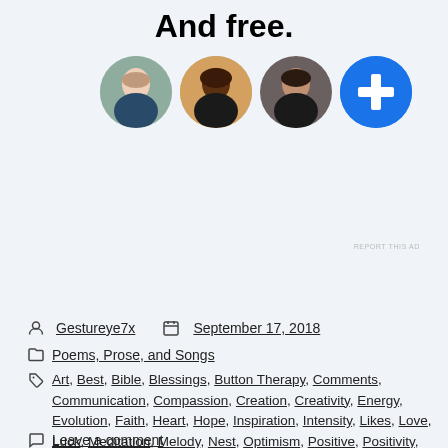And free.
[Figure (illustration): Four circular avatar images in a row: three profile photos of people (a woman with light skin, a woman with dark skin, a man with medium skin) and one blue circle with a white plus sign.]
REPORT THIS AD
Gestureye7x   September 17, 2018
Poems, Prose, and Songs
Art, Best, Bible, Blessings, Button Therapy, Comments, Communication, Compassion, Creation, Creativity, Energy, Evolution, Faith, Heart, Hope, Inspiration, Intensity, Likes, Love, Luck, Meditation, Melody, Nest, Optimism, Positive, Positivity, Pray, Prayer, Rap, Religion, Song, Troubles, Vibes
Leave a comment